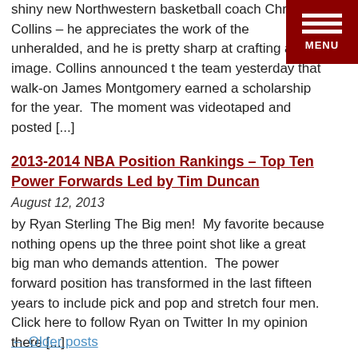shiny new Northwestern basketball coach Chris Collins – he appreciates the work of the unheralded, and he is pretty sharp at crafting an image. Collins announced to the team yesterday that walk-on James Montgomery earned a scholarship for the year.  The moment was videotaped and posted [...]
2013-2014 NBA Position Rankings – Top Ten Power Forwards Led by Tim Duncan
August 12, 2013
by Ryan Sterling The Big men!  My favorite because nothing opens up the three point shot like a great big man who demands attention.  The power forward position has transformed in the last fifteen years to include pick and pop and stretch four men. Click here to follow Ryan on Twitter In my opinion there [...]
← Older posts